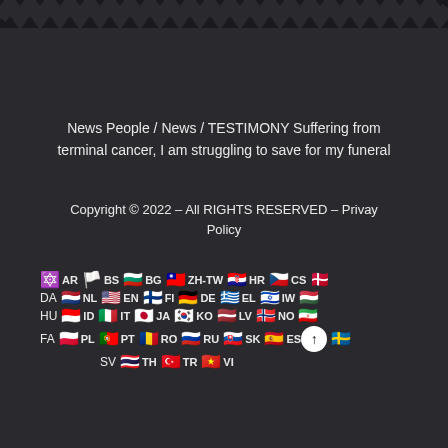[Figure (illustration): Zigzag/sawtooth dark decorative border at top of page]
News People / News / TESTIMONY Suffering from terminal cancer, I am struggling to save for my funeral
Copyright © 2022 – All RIGHTS RESERVED – Privay Policy
[Figure (infographic): Grid of country flag emojis with language codes: AR, BS, BG, ZH-TW, HR, CS, DA, NL, EN, FI, DE, EL, IW, HU, ID, IT, JA, KO, LV, NO, FA, PL, PT, RO, RU, SK, ES, SV, TH, TR, VI]